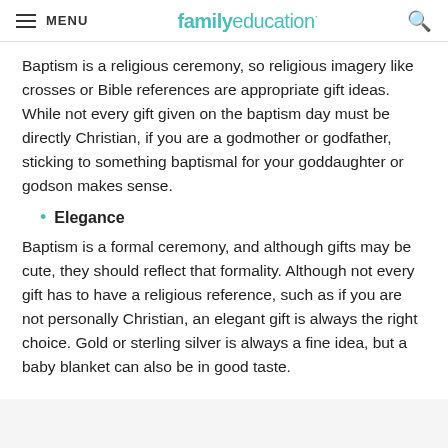MENU | familyeducation
Baptism is a religious ceremony, so religious imagery like crosses or Bible references are appropriate gift ideas. While not every gift given on the baptism day must be directly Christian, if you are a godmother or godfather, sticking to something baptismal for your goddaughter or godson makes sense.
Elegance
Baptism is a formal ceremony, and although gifts may be cute, they should reflect that formality. Although not every gift has to have a religious reference, such as if you are not personally Christian, an elegant gift is always the right choice. Gold or sterling silver is always a fine idea, but a baby blanket can also be in good taste.